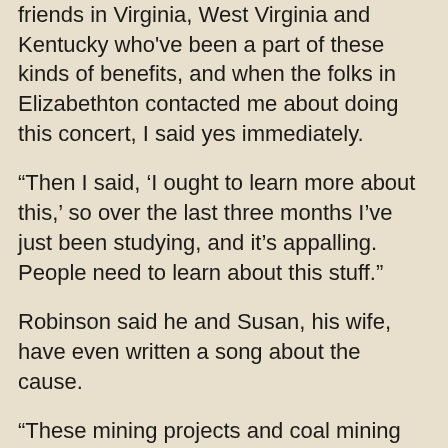friends in Virginia, West Virginia and Kentucky who've been a part of these kinds of benefits, and when the folks in Elizabethton contacted me about doing this concert, I said yes immediately.
“Then I said, ‘I ought to learn more about this,’ so over the last three months I’ve just been studying, and it’s appalling. People need to learn about this stuff.”
Robinson said he and Susan, his wife, have even written a song about the cause.
“These mining projects and coal mining companies operate kind of invisibly, in remote parts of Appalachia, far removed from mainstream awareness,” he said. “They don’t have to be noisy and make their case to go about their business. It’s up to the people like us to get people united and make a noise. Because a large majority of people don’t support mountaintop removal.”